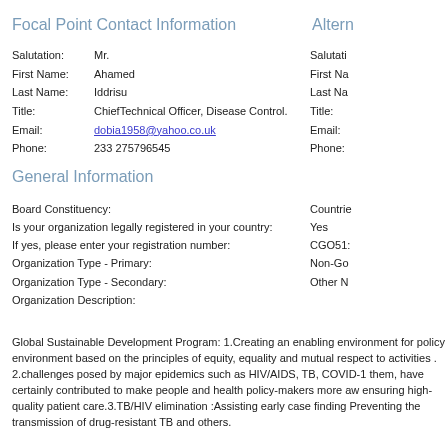Focal Point Contact Information
Altern
Salutation: Mr.
First Name: Ahamed
Last Name: Iddrisu
Title: ChiefTechnical Officer, Disease Control.
Email: dobia1958@yahoo.co.uk
Phone: 233 275796545
Salutati
First Na
Last Na
Title:
Email:
Phone:
General Information
Board Constituency:
Is your organization legally registered in your country:
If yes, please enter your registration number:
Organization Type - Primary:
Organization Type - Secondary:
Organization Description:
Countrie
Yes
CGO51:
Non-Go
Other N
Global Sustainable Development Program: 1.Creating an enabling environment for policy environment based on the principles of equity, equality and mutual respect to activities . 2.challenges posed by major epidemics such as HIV/AIDS, TB, COVID-1 them, have certainly contributed to make people and health policy-makers more aw ensuring high-quality patient care.3.TB/HIV elimination :Assisting early case finding Preventing the transmission of drug-resistant TB and others.